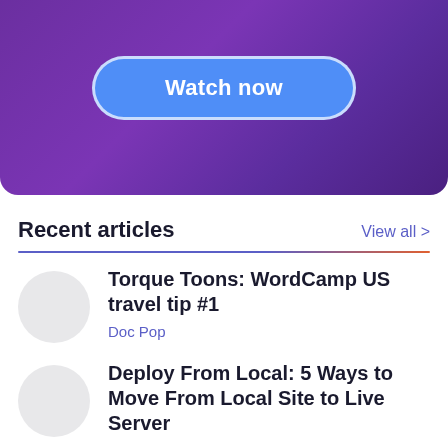[Figure (other): Purple gradient banner with a blue 'Watch now' button with rounded pill shape and white border]
Recent articles
View all >
Torque Toons: WordCamp US travel tip #1
Doc Pop
Deploy From Local: 5 Ways to Move From Local Site to Live Server